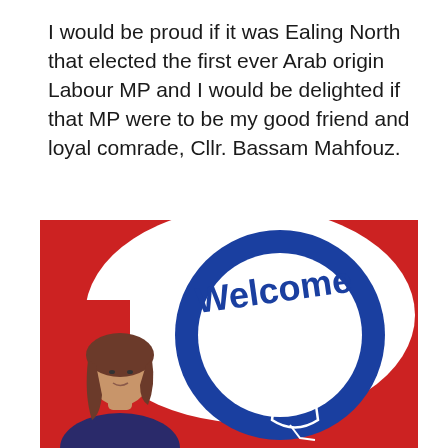I would be proud if it was Ealing North that elected the first ever Arab origin Labour MP and I would be delighted if that MP were to be my good friend and loyal comrade, Cllr. Bassam Mahfouz.
[Figure (photo): A photo of a woman with brown hair standing in front of a large circular blue and white 'Welcome' sign on a red background. The sign features a cartoon character.]